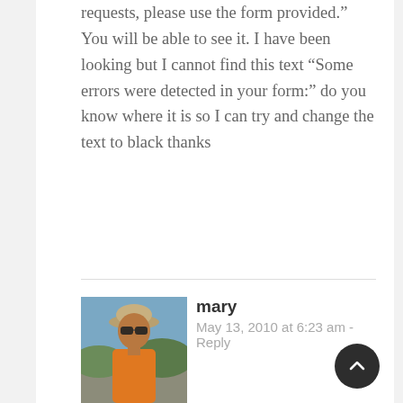requests, please use the form provided.” You will be able to see it. I have been looking but I cannot find this text “Some errors were detected in your form:” do you know where it is so I can try and change the text to black thanks
mary
May 13, 2010 at 6:23 am - Reply
[Figure (photo): Avatar photo of a person wearing a hat, in an outdoor setting, wearing an orange shirt]
Michael
If you use firebug, you’ll notice that that error text is inside a div with a class of “error”. So to change the font color to black you could do something